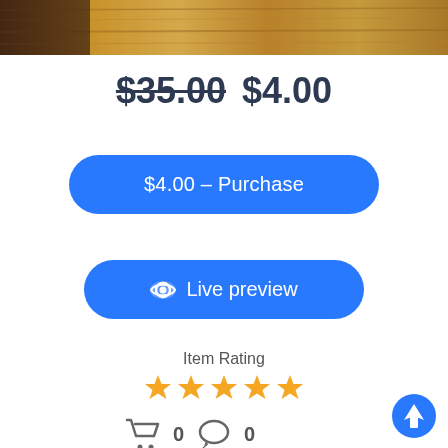[Figure (photo): Product image showing wooden surface texture, cropped at top of page]
$35.00 $4.00
$4.00 – Purchase
Live preview
Item Rating
[Figure (other): Five yellow star rating icons]
0  0